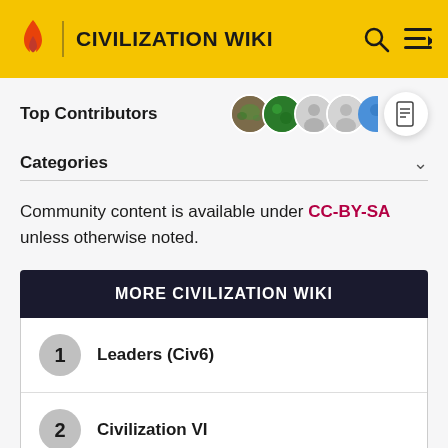CIVILIZATION WIKI
Top Contributors
Categories
Community content is available under CC-BY-SA unless otherwise noted.
MORE CIVILIZATION WIKI
1 Leaders (Civ6)
2 Civilization VI